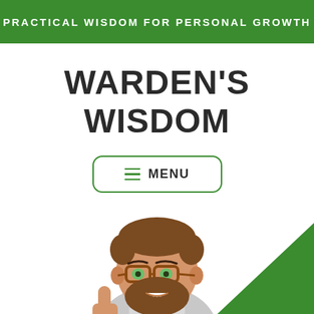PRACTICAL WISDOM FOR PERSONAL GROWTH
WARDEN'S WISDOM
[Figure (illustration): Green rounded-rectangle button with hamburger menu icon and the word MENU in dark text, outlined in green]
[Figure (illustration): Cartoon bitmoji-style illustration of a bearded man with glasses giving a thumbs up, with a green triangle/arrow shape in the lower right, partially cropped at bottom of page]